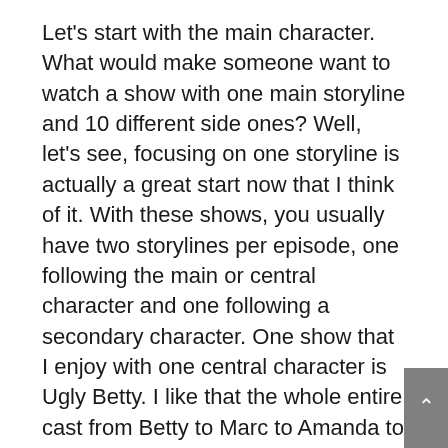Let's start with the main character. What would make someone want to watch a show with one main storyline and 10 different side ones? Well, let's see, focusing on one storyline is actually a great start now that I think of it. With these shows, you usually have two storylines per episode, one following the main or central character and one following a secondary character. One show that I enjoy with one central character is Ugly Betty. I like that the whole entire cast from Betty to Marc to Amanda to Wilhelmina, was amazing to watch, but I was also very interested in seeing Betty grow throughout the seasons.
United States of Tara is another show with a main character that I enjoyed quite a bit. My enjoyment of the show also had to do with Toni Collette playing multiple characters simultaneously. I love seeing